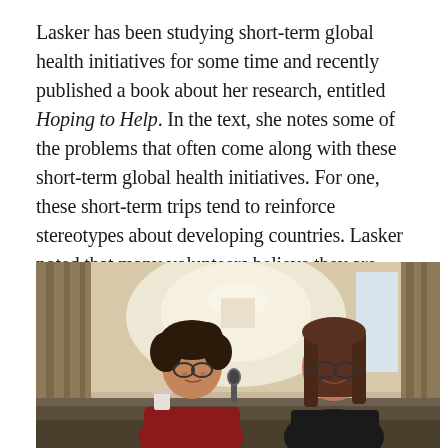Lasker has been studying short-term global health initiatives for some time and recently published a book about her research, entitled Hoping to Help. In the text, she notes some of the problems that often come along with these short-term global health initiatives. For one, these short-term trips tend to reinforce stereotypes about developing countries. Lasker noted that many volunteers believe they are going to places of poverty, illness and ignorance.
[Figure (photo): Two women seated at a table in a conference or seminar room. The woman on the left has curly dark hair, glasses, and wears a red jacket. The woman on the right has straight brown hair, glasses, and wears a black top. They appear to be in conversation. There are curtains and a light-colored wall in the background, with a lamp visible behind them. A microphone is visible on the table.]